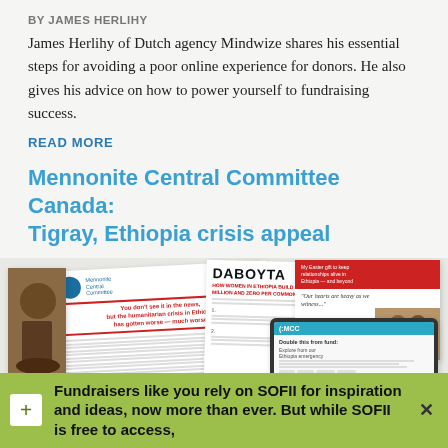BY JAMES HERLIHY
James Herlihy of Dutch agency Mindwize shares his essential steps for avoiding a poor online experience for donors. He also gives his advice on how to power yourself to fundraising success.
READ MORE
Mennonite Central Committee Canada: Tigray, Ethiopia crisis appeal
[Figure (photo): Collage of fundraising campaign materials for Mennonite Central Committee Canada's Tigray, Ethiopia crisis appeal, including printed letters, a newsletter titled 'DABOYTA', and a tablet showing the MCC donation website.]
Fundraisers like you rely on SOFII for inspiration and ideas, now more than ever. But while SOFII is free to access,